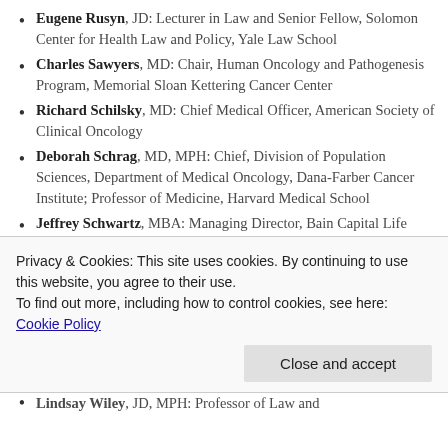Eugene Rusyn, JD: Lecturer in Law and Senior Fellow, Solomon Center for Health Law and Policy, Yale Law School
Charles Sawyers, MD: Chair, Human Oncology and Pathogenesis Program, Memorial Sloan Kettering Cancer Center
Richard Schilsky, MD: Chief Medical Officer, American Society of Clinical Oncology
Deborah Schrag, MD, MPH: Chief, Division of Population Sciences, Department of Medical Oncology, Dana-Farber Cancer Institute; Professor of Medicine, Harvard Medical School
Jeffrey Schwartz, MBA: Managing Director, Bain Capital Life Sciences
Privacy & Cookies: This site uses cookies. By continuing to use this website, you agree to their use.
To find out more, including how to control cookies, see here: Cookie Policy
Lindsay Wiley, JD, MPH: Professor of Law and